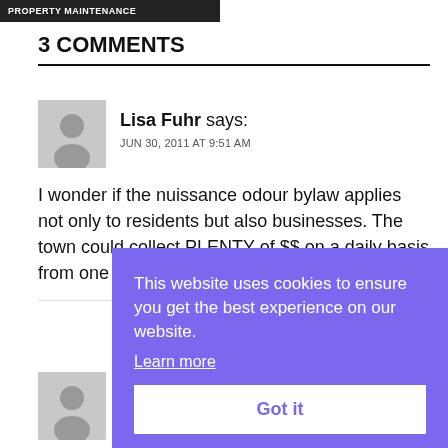[Figure (other): Dark banner with text PROPERTY MAINTENANCE in white uppercase letters]
3 COMMENTS
Lisa Fuhr says:
JUN 30, 2011 AT 9:51 AM
I wonder if the nuissance odour bylaw applies not only to residents but also businesses. The town could collect PLENTY of $$ on a daily basis from one in par... very... occa... sub...
[Figure (other): Cookie consent overlay: 'This website uses cookies to ensure you get the best experience on our website. Learn more' with a 'Got it' button]